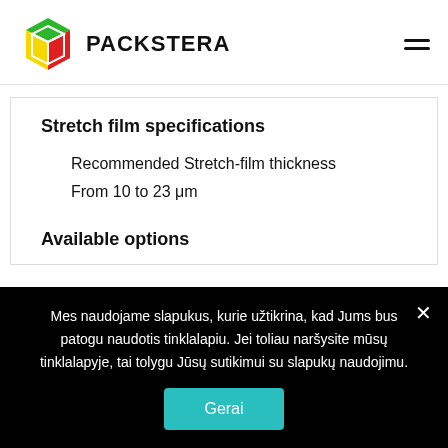[Figure (logo): Packstera logo with colorful 3D box icon and bold PACK text followed by STERA]
Stretch film specifications
Recommended Stretch-film thickness
From 10 to 23 μm
Available options
Mes naudojame slapukus, kurie užtikrina, kad Jums bus patogu naudotis tinklalapiu. Jei toliau naršysite mūsų tinklalapyje, tai tolygu Jūsų sutikimui su slapukų naudojimu.
Gerai